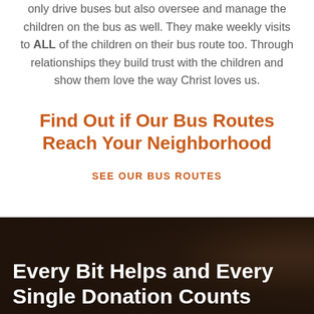only drive buses but also oversee and manage the children on the bus as well. They make weekly visits to ALL of the children on their bus route too. Through relationships they build trust with the children and show them love the way Christ loves us.
Find Out if Our Bus Routes Reach Your Neighborhood
SEE OUR BUS ROUTES
Every Bit Helps and Every Single Donation Counts